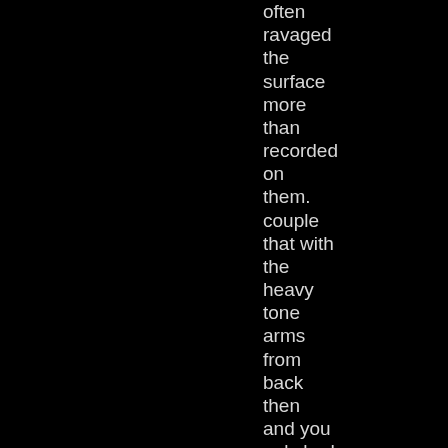often
ravaged
the
surface
more
than
recorded
on
them.
couple
that with
the
heavy
tone
arms
from
back
then
and you
only had
a
handful
of plays